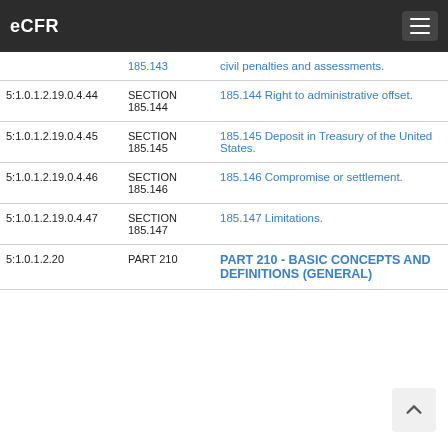eCFR
| ID | Type | Title |
| --- | --- | --- |
|  | 185.143 | civil penalties and assessments. |
| 5:1.0.1.2.19.0.4.44 | SECTION 185.144 | 185.144 Right to administrative offset. |
| 5:1.0.1.2.19.0.4.45 | SECTION 185.145 | 185.145 Deposit in Treasury of the United States. |
| 5:1.0.1.2.19.0.4.46 | SECTION 185.146 | 185.146 Compromise or settlement. |
| 5:1.0.1.2.19.0.4.47 | SECTION 185.147 | 185.147 Limitations. |
| 5:1.0.1.2.20 | PART 210 | PART 210 - BASIC CONCEPTS AND DEFINITIONS (GENERAL) |